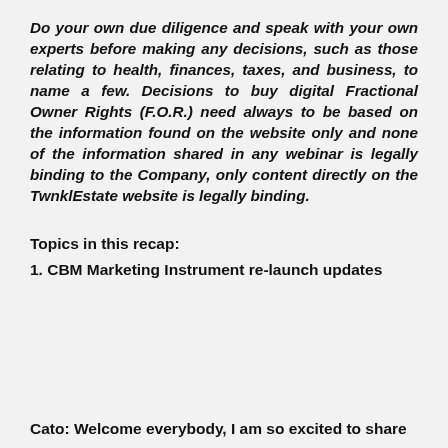Do your own due diligence and speak with your own experts before making any decisions, such as those relating to health, finances, taxes, and business, to name a few. Decisions to buy digital Fractional Owner Rights (F.O.R.) need always to be based on the information found on the website only and none of the information shared in any webinar is legally binding to the Company, only content directly on the TwnklEstate website is legally binding.
Topics in this recap:
1. CBM Marketing Instrument re-launch updates
Cato: Welcome everybody, I am so excited to share